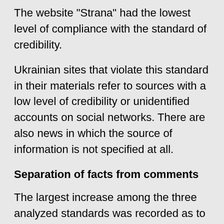The website "Strana" had the lowest level of compliance with the standard of credibility.
Ukrainian sites that violate this standard in their materials refer to sources with a low level of credibility or unidentified accounts on social networks. There are also news in which the source of information is not specified at all.
Separation of facts from comments
The largest increase among the three analyzed standards was recorded as to the standard of separation of facts from comments: by 3% compared to the previous monitoring period (up to 92%).
The lowest rate of compliance with this standard was recorded on the Politeka website, where more than half of the materials (54%) contained violations of this